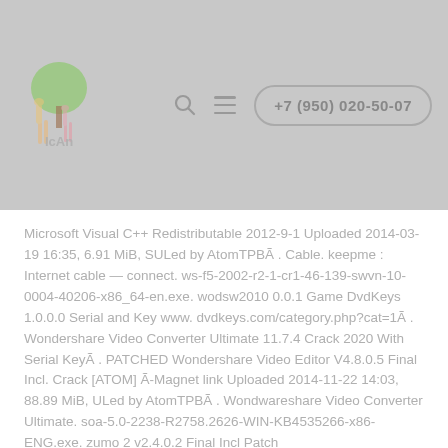ICAN logo, search icon, menu icon, phone button: +7 (950) 020-50-07
Microsoft Visual C++ Redistributable 2012-9-1 Uploaded 2014-03-19 16:35, 6.91 MiB, SULed by AtomTPBÃ . Cable. keepme : Internet cable — connect. ws-f5-2002-r2-1-cr1-46-139-swvn-10-0004-40206-x86_64-en.exe. wodsw2010 0.0.1 Game DvdKeys 1.0.0.0 Serial and Key www. dvdkeys.com/category.php?cat=1Ã . Wondershare Video Converter Ultimate 11.7.4 Crack 2020 With Serial KeyÃ . PATCHED Wondershare Video Editor V4.8.0.5 Final Incl. Crack [ATOM] Ã-Magnet link Uploaded 2014-11-22 14:03, 88.89 MiB, ULed by AtomTPBÃ . Wondwareshare Video Converter Ultimate. soa-5.0-2238-R2758.2626-WIN-KB4535266-x86-ENG.exe. zumo 2 v2.4.0.2 Final Incl Patch